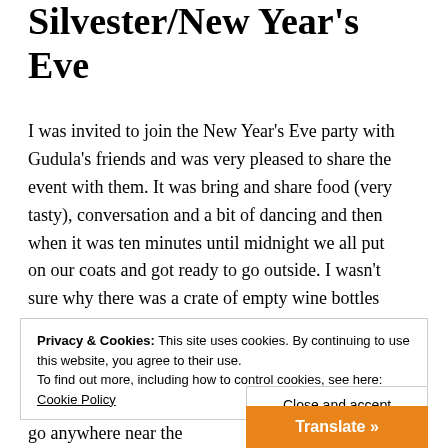Silvester/New Year's Eve
I was invited to join the New Year's Eve party with Gudula's friends and was very pleased to share the event with them. It was bring and share food (very tasty), conversation and a bit of dancing and then when it was ten minutes until midnight we all put on our coats and got ready to go outside. I wasn't sure why there was a crate of empty wine bottles being carried outside… and then I discovered the reason. People were setting off fireworks in the street, just popping the sticks into the wine bottles,
Privacy & Cookies: This site uses cookies. By continuing to use this website, you agree to their use.
To find out more, including how to control cookies, see here: Cookie Policy
Close and accept
Translate »
go anywhere near the fireworks as they are